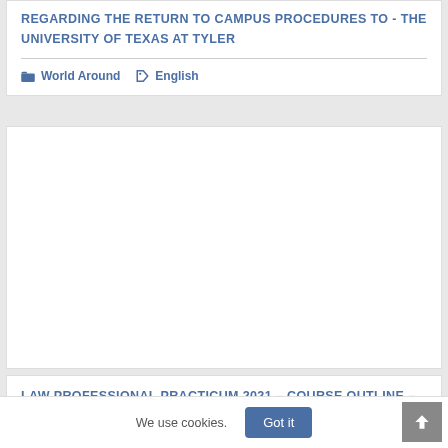REGARDING THE RETURN TO CAMPUS PROCEDURES TO - THE UNIVERSITY OF TEXAS AT TYLER
World Around  English
[Figure (other): Blank white card area, likely an image placeholder for a document preview]
LAW PROFESSIONAL PRACTICUM 2021 - COURSE OUTLINE -
We use cookies.
Got it